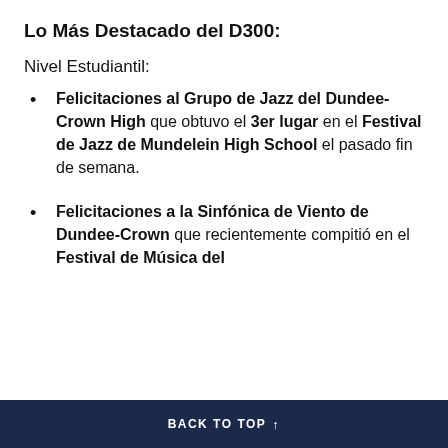Lo Más Destacado del D300:
Nivel Estudiantil:
Felicitaciones al Grupo de Jazz del Dundee-Crown High que obtuvo el 3er lugar en el Festival de Jazz de Mundelein High School el pasado fin de semana.
Felicitaciones a la Sinfónica de Viento de Dundee-Crown que recientemente compitió en el Festival de Música del
BACK TO TOP ↑